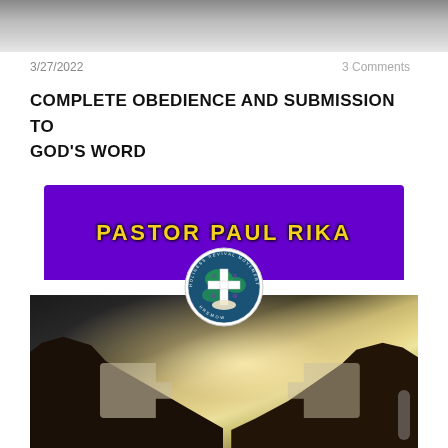[Figure (photo): Top banner image showing rocky/mountainous texture in grayscale]
3/27/2022
3 Comments
COMPLETE OBEDIENCE AND SUBMISSION TO GOD'S WORD
[Figure (photo): Composite image: purple banner with yellow text 'PASTOR PAUL RIKA', a circular Holiness Revival Movement Worldwide (HRMW) logo overlaid in the center, and below a dark photo of two hands placing puzzle pieces together with bright backlight glow]